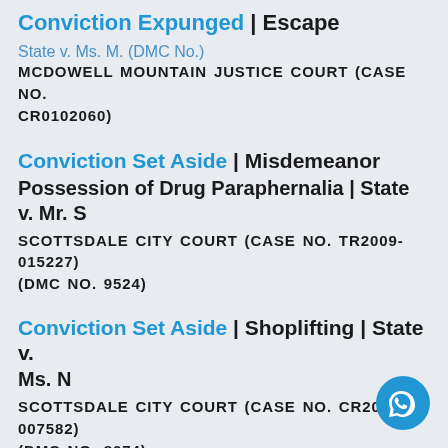Conviction Expunged | Escape
State v. Ms. M. (DMC No.)
MCDOWELL MOUNTAIN JUSTICE COURT (CASE NO. CR0102060)
Conviction Set Aside | Misdemeanor Possession of Drug Paraphernalia | State v. Mr. S
SCOTTSDALE CITY COURT (CASE NO. TR2009-015227) (DMC NO. 9524)
Conviction Set Aside | Shoplifting | State v. Ms. N
SCOTTSDALE CITY COURT (CASE NO. CR2007-007582) (DMC NO. 8074)